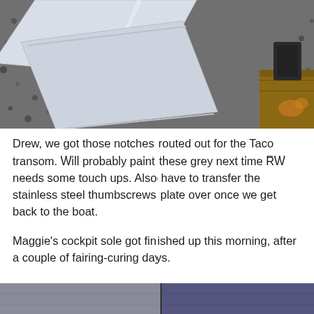[Figure (photo): White plastic or fiberglass panels with routed notches lying on gravel/ground surface with some wooden material visible at right edge.]
Drew, we got those notches routed out for the Taco transom. Will probably paint these grey next time RW needs some touch ups. Also have to transfer the stainless steel thumbscrews plate over once we get back to the boat.
Maggie's cockpit sole got finished up this morning, after a couple of fairing-curing days.
[Figure (photo): Partial view of a boat cockpit sole/floor, partially cropped at bottom of page.]